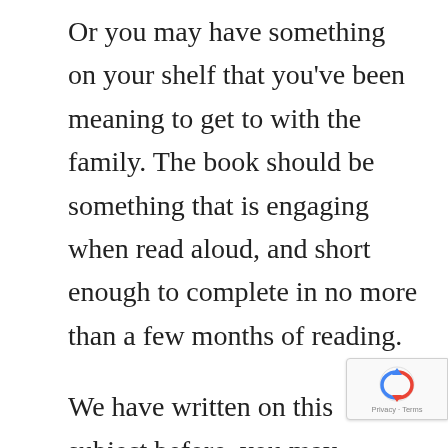Or you may have something on your shelf that you've been meaning to get to with the family. The book should be something that is engaging when read aloud, and short enough to complete in no more than a few months of reading.
We have written on this subject before, you may remember. In fact, we have created an e-book that we would like to share with you; to request your copy, click here >>
So, do the Leadership-Style of New Year's Resolution this year! Pick up a book and start
[Figure (logo): reCAPTCHA badge overlay with Google reCAPTCHA logo and Privacy - Terms text]